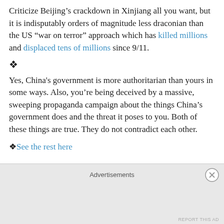Criticize Beijing’s crackdown in Xinjiang all you want, but it is indisputably orders of magnitude less draconian than the US “war on terror” approach which has killed millions and displaced tens of millions since 9/11.
❖
Yes, China's government is more authoritarian than yours in some ways. Also, you’re being deceived by a massive, sweeping propaganda campaign about the things China’s government does and the threat it poses to you. Both of these things are true. They do not contradict each other.
❖ See the rest here
Advertisements